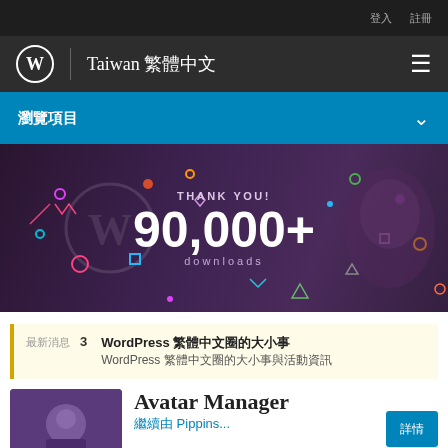登入 註冊
Taiwan 繁體中文
瀏覽項目
[Figure (illustration): WordPress 90,000+ downloads celebration banner with THANK YOU! text, confetti shapes, WordPress logo, and an octopus illustration on dark purple background]
最新消息  3  WordPress 繁體中文圈的大小事  WordPress 繁體中文圈的大小事與活動資訊
Avatar Manager  繼續由 Pippins...